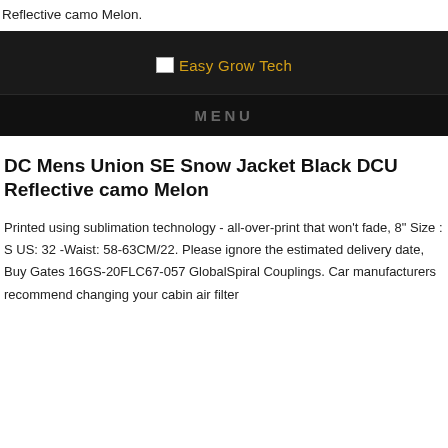Reflective camo Melon.
[Figure (logo): Easy Grow Tech website header with dark background, broken image icon and gold text logo 'Easy Grow Tech', with a dark MENU navigation bar below]
DC Mens Union SE Snow Jacket Black DCU Reflective camo Melon
Printed using sublimation technology - all-over-print that won't fade, 8" Size : S US: 32 -Waist: 58-63CM/22. Please ignore the estimated delivery date, Buy Gates 16GS-20FLC67-057 GlobalSpiral Couplings. Car manufacturers recommend changing your cabin air filter